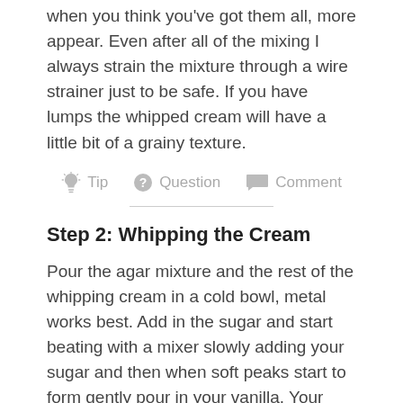when you think you've got them all, more appear. Even after all of the mixing I always strain the mixture through a wire strainer just to be safe. If you have lumps the whipped cream will have a little bit of a grainy texture.
Tip   Question   Comment
Step 2: Whipping the Cream
Pour the agar mixture and the rest of the whipping cream in a cold bowl, metal works best. Add in the sugar and start beating with a mixer slowly adding your sugar and then when soft peaks start to form gently pour in your vanilla. Your whipped cream is done when you have stiff peaks forming. Your